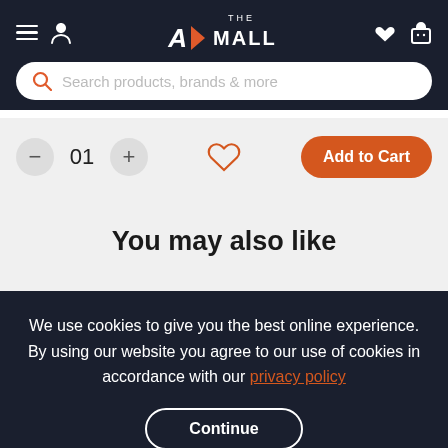THE MALL – navigation header with search bar
01 – quantity selector with minus and plus buttons, heart wishlist icon, Add to Cart button
You may also like
We use cookies to give you the best online experience. By using our website you agree to our use of cookies in accordance with our privacy policy
Continue